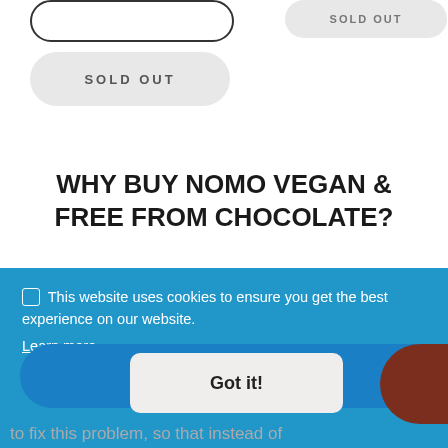SOLD OUT
SOLD OUT
WHY BUY NOMO VEGAN & FREE FROM CHOCOLATE?
For a long time, many vegans and those with food allergies were excluded from mainstream chocolate;
This website uses cookies to ensure you get the best experience on our website. Learn more
Got it!
MENU
to fix this problem, so that instead of